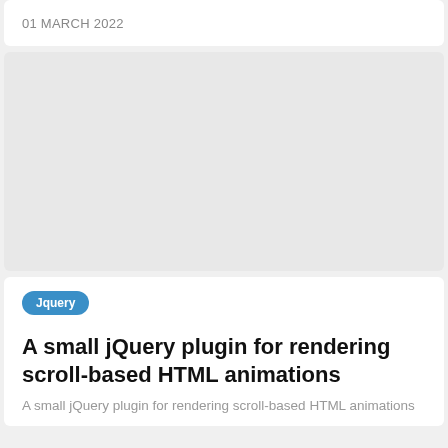01 MARCH 2022
[Figure (other): Large light gray placeholder image block]
Jquery
A small jQuery plugin for rendering scroll-based HTML animations
A small jQuery plugin for rendering scroll-based HTML animations